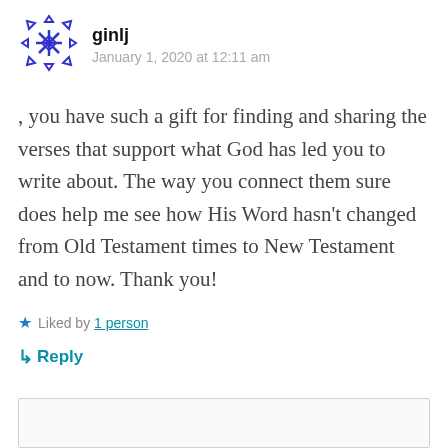[Figure (illustration): Blue decorative snowflake/cross avatar icon for user ginlj]
ginlj
January 1, 2020 at 12:11 am
, you have such a gift for finding and sharing the verses that support what God has led you to write about. The way you connect them sure does help me see how His Word hasn't changed from Old Testament times to New Testament and to now. Thank you!
★ Liked by 1 person
↳ Reply